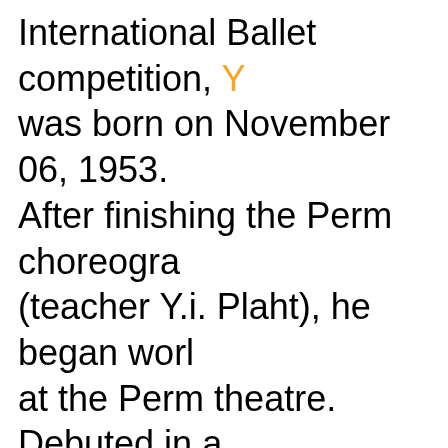International Ballet competition, Y... was born on November 06, 1953. After finishing the Perm choreogra... (teacher Y.i. Plaht), he began work... at the Perm theatre. Debuted in a... The first performer of parties: the ... double ("Three cards", 1973), Truf... Servant of two misters", 1976, cho... by N. N. Boyarchikov), Adam ("Cre... world", 1974), choreography by M...